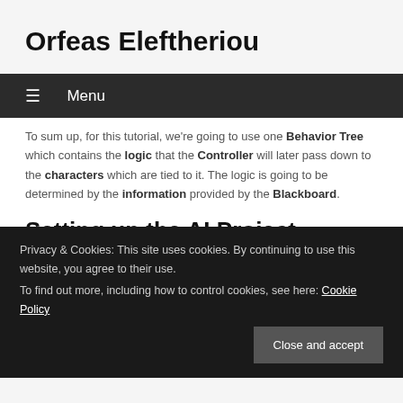Orfeas Eleftheriou
☰  Menu
To sum up, for this tutorial, we're going to use one Behavior Tree which contains the logic that the Controller will later pass down to the characters which are tied to it. The logic is going to be determined by the information provided by the Blackboard.
Setting up the AI Project
After explaining all this stuff, we're ready to create our patrol system.
Privacy & Cookies: This site uses cookies. By continuing to use this website, you agree to their use.
To find out more, including how to control cookies, see here: Cookie Policy
Close and accept